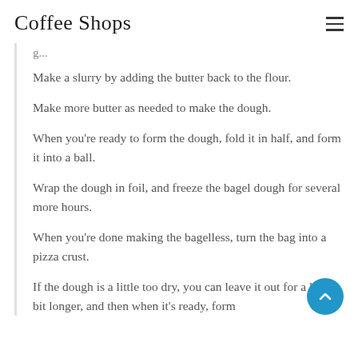Coffee Shops
Make a slurry by adding the butter back to the flour.
Make more butter as needed to make the dough.
When you're ready to form the dough, fold it in half, and form it into a ball.
Wrap the dough in foil, and freeze the bagel dough for several more hours.
When you're done making the bagelless, turn the bag into a pizza crust.
If the dough is a little too dry, you can leave it out for a little bit longer, and then when it's ready, form